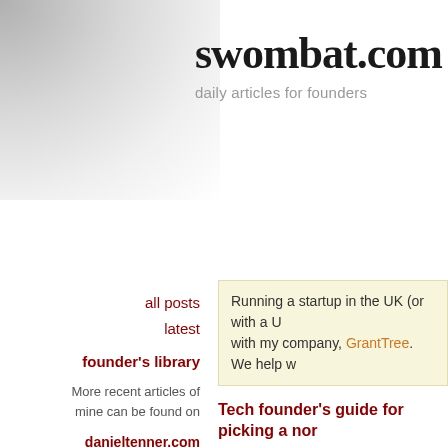swombat.com
daily articles for founders
all posts
latest
founder's library
More recent articles of mine can be found on danieltenner.com
Swombat.com is no longer
Running a startup in the UK (or with a U... with my company, GrantTree. We help w...
Tech founder's guide for picking a no...
Jessica Alter:
There are many articles and blogs cla... list of things to do to find the perfect te... as if it's that easy to find a cofounder ... purview at FounderDating, however, c...